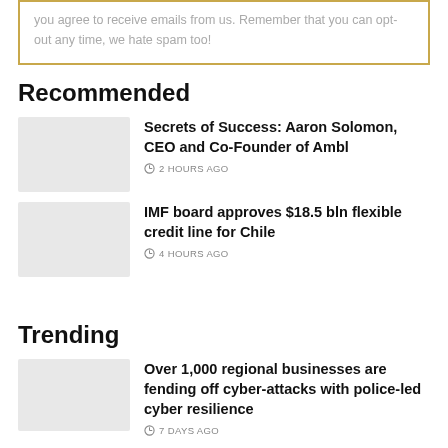you agree to receive emails from us. Remember that you can opt-out any time, we hate spam too!
Recommended
Secrets of Success: Aaron Solomon, CEO and Co-Founder of Ambl — 2 HOURS AGO
IMF board approves $18.5 bln flexible credit line for Chile — 4 HOURS AGO
Trending
Over 1,000 regional businesses are fending off cyber-attacks with police-led cyber resilience — 7 DAYS AGO